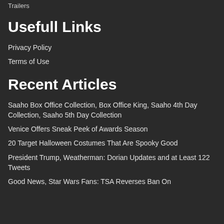Trailers
Usefull Links
Privacy Policy
Terms of Use
Recent Articles
Saaho Box Office Collection, Box Office King, Saaho 4th Day Collection, Saaho 5th Day Collection
Venice Offers Sneak Peek of Awards Season
20 Target Halloween Costumes That Are Spooky Good
President Trump, Weatherman: Dorian Updates and at Least 122 Tweets
Good News, Star Wars Fans: TSA Reverses Ban On